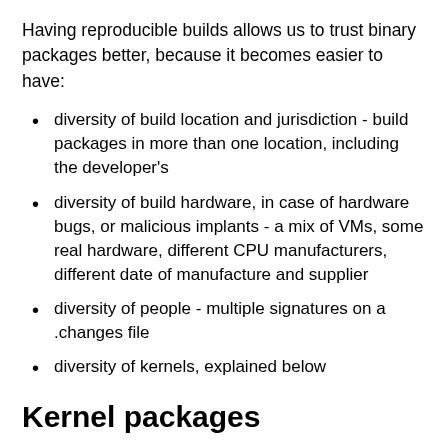Having reproducible builds allows us to trust binary packages better, because it becomes easier to have:
diversity of build location and jurisdiction - build packages in more than one location, including the developer's
diversity of build hardware, in case of hardware bugs, or malicious implants - a mix of VMs, some real hardware, different CPU manufacturers, different date of manufacture and supplier
diversity of people - multiple signatures on a .changes file
diversity of kernels, explained below
Kernel packages
Special features of kernel packages (including